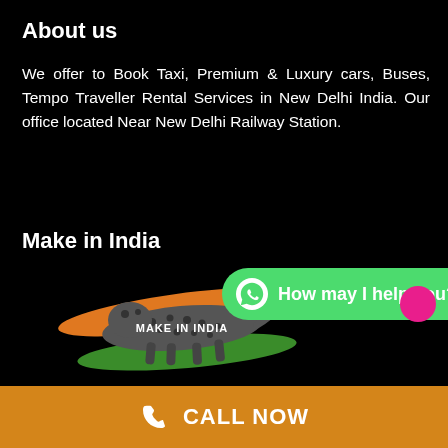About us
We offer to Book Taxi, Premium & Luxury cars, Buses, Tempo Traveller Rental Services in New Delhi India. Our office located Near New Delhi Railway Station.
Make in India
[Figure (logo): Make in India logo with a cheetah/leopard walking over Indian flag colors (saffron, white, green), with text 'MAKE IN INDIA' overlaid]
[Figure (screenshot): WhatsApp chat button with green pill shape, WhatsApp icon, and text 'How may I help you?']
Incredible India
CALL NOW